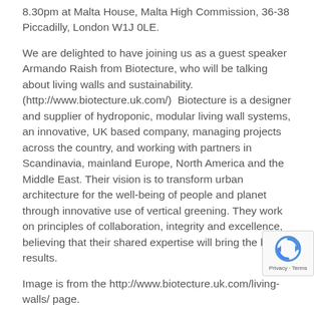8.30pm at Malta House, Malta High Commission, 36-38 Piccadilly, London W1J 0LE.
We are delighted to have joining us as a guest speaker Armando Raish from Biotecture, who will be talking about living walls and sustainability. (http://www.biotecture.uk.com/)  Biotecture is a designer and supplier of hydroponic, modular living wall systems, an innovative, UK based company, managing projects across the country, and working with partners in Scandinavia, mainland Europe, North America and the Middle East. Their vision is to transform urban architecture for the well-being of people and planet through innovative use of vertical greening. They work on principles of collaboration, integrity and excellence, believing that their shared expertise will bring the best results.
Image is from the http://www.biotecture.uk.com/living-walls/ page.
Please register online to attend – only registered